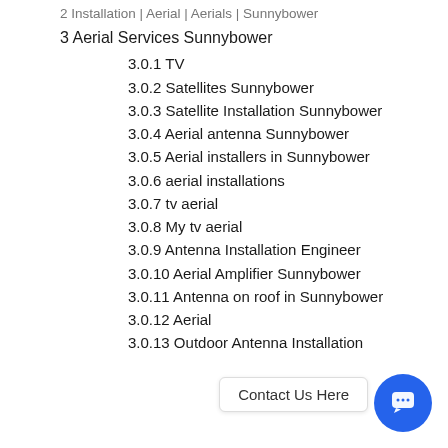2 Installation | Aerial | Aerials | Sunnybower
3 Aerial Services Sunnybower
3.0.1 TV
3.0.2 Satellites Sunnybower
3.0.3 Satellite Installation Sunnybower
3.0.4 Aerial antenna Sunnybower
3.0.5 Aerial installers in Sunnybower
3.0.6 aerial installations
3.0.7 tv aerial
3.0.8 My tv aerial
3.0.9 Antenna Installation Engineer
3.0.10 Aerial Amplifier Sunnybower
3.0.11 Antenna on roof in Sunnybower
3.0.12 Aerial
3.0.13 Outdoor Antenna Installation